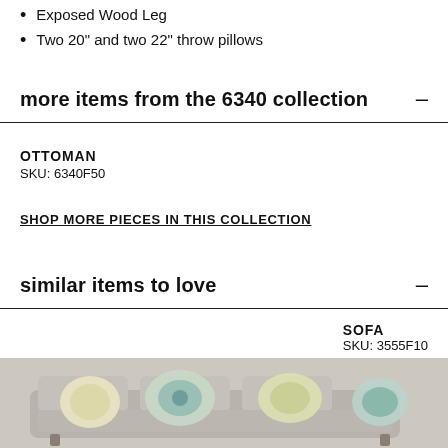Exposed Wood Leg
Two 20" and two 22" throw pillows
more items from the 6340 collection
OTTOMAN
SKU: 6340F50
SHOP MORE PIECES IN THIS COLLECTION
similar items to love
SOFA
SKU: 3555F10
[Figure (photo): Photo of a grey sofa with decorative throw pillows in yellow, cream, and teal floral patterns]